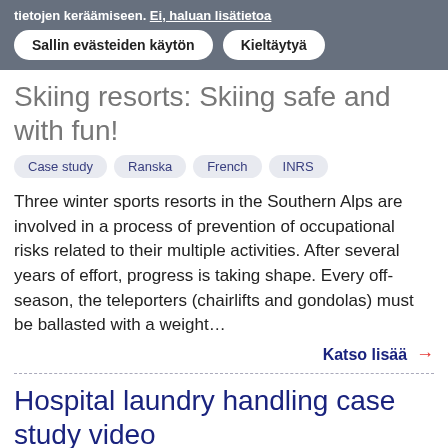tietojen keräämiseen. Ei, haluan lisätietoa
Sallin evästeiden käytön   Kieltäytyä
Skiing resorts: Skiing safe and with fun!
Case study
Ranska
French
INRS
Three winter sports resorts in the Southern Alps are involved in a process of prevention of occupational risks related to their multiple activities. After several years of effort, progress is taking shape. Every off-season, the teleporters (chairlifts and gondolas) must be ballasted with a weight…
Katso lisää →
Hospital laundry handling case study video